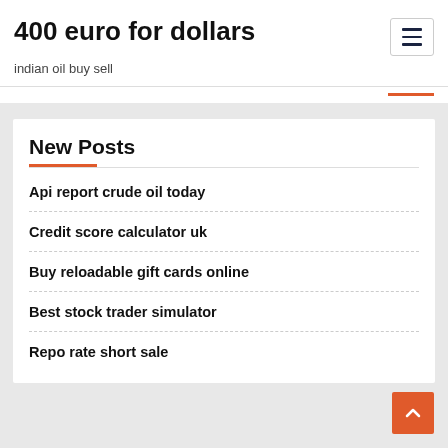400 euro for dollars
indian oil buy sell
New Posts
Api report crude oil today
Credit score calculator uk
Buy reloadable gift cards online
Best stock trader simulator
Repo rate short sale